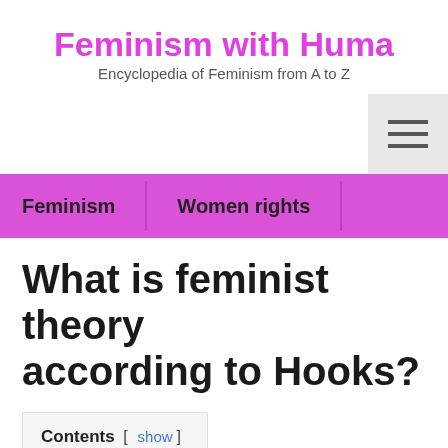Feminism with Huma
Encyclopedia of Feminism from A to Z
Feminism   Women rights
What is feminist theory according to Hooks?
Contents [ show ]